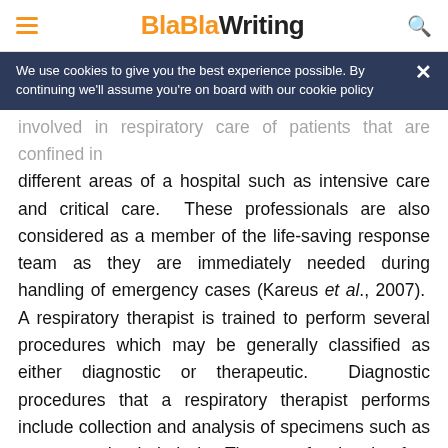BlaBlaWriting
We use cookies to give you the best experience possible. By continuing we'll assume you're on board with our cookie policy
involved in respiratory care of patients that are confined in different areas of a hospital such as intensive care and critical care. These professionals are also considered as a member of the life-saving response team as they are immediately needed during handling of emergency cases (Kareus et al., 2007). A respiratory therapist is trained to perform several procedures which may be generally classified as either diagnostic or therapeutic. Diagnostic procedures that a respiratory therapist performs include collection and analysis of specimens such as sputum and exhaled air. These professionals often deal with blood samples wherein they are trained to determine the concentration of specific gases in the blood of a patient.
These...